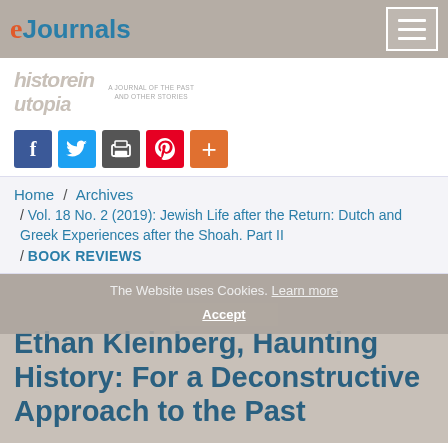eJournals
[Figure (logo): Historein journal logo with subtitle text]
[Figure (infographic): Social sharing icons: Facebook, Twitter, Print, Pinterest, Plus]
Home / Archives / Vol. 18 No. 2 (2019): Jewish Life after the Return: Dutch and Greek Experiences after the Shoah. Part II / BOOK REVIEWS
Ethan Kleinberg, Haunting History: For a Deconstructive Approach to the Past